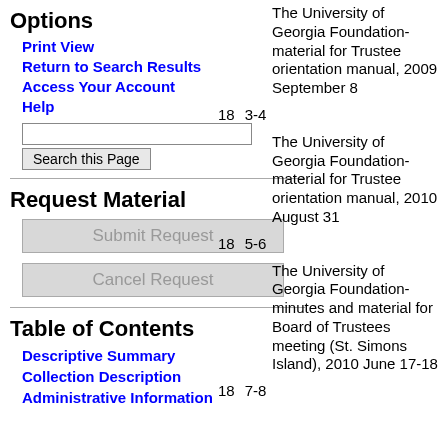Options
Print View
Return to Search Results
Access Your Account
Help
Request Material
Table of Contents
Descriptive Summary
Collection Description
Administrative Information
The University of Georgia Foundation- material for Trustee orientation manual, 2009 September 8
18  3-4
The University of Georgia Foundation- material for Trustee orientation manual, 2010 August 31
18  5-6
The University of Georgia Foundation- minutes and material for Board of Trustees meeting (St. Simons Island), 2010 June 17-18
18  7-8